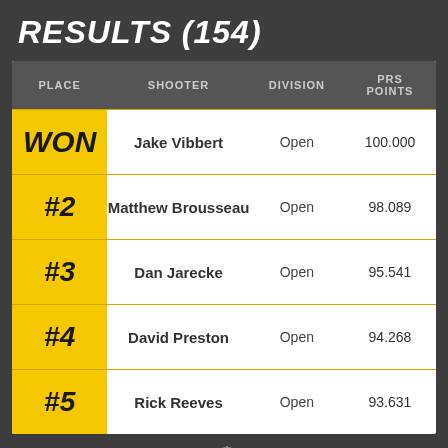RESULTS (154)
| PLACE | SHOOTER | DIVISION | PRS POINTS |
| --- | --- | --- | --- |
| WON | Jake Vibbert | Open | 100.000 |
| #2 | Matthew Brousseau | Open | 98.089 |
| #3 | Dan Jarecke | Open | 95.541 |
| #4 | David Preston | Open | 94.268 |
| #5 | Rick Reeves | Open | 93.631 |
[Figure (logo): AREA 419 and Armageddon Gear sponsor logos]